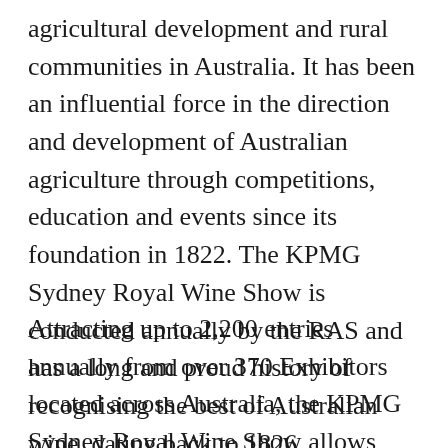agricultural development and rural communities in Australia. It has been an influential force in the direction and development of Australian agriculture through competitions, education and events since its foundation in 1822. The KPMG Sydney Royal Wine Show is conducted annually by the RAS and has a long and proud history of recognising the best of Australian wine, dating back to 1826.
Attracting up to 2,200 entries annually from over 370 Exhibitors located across Australia, the KPMG Sydney Royal Wine Show allows Exhibitors the opportunity to have their